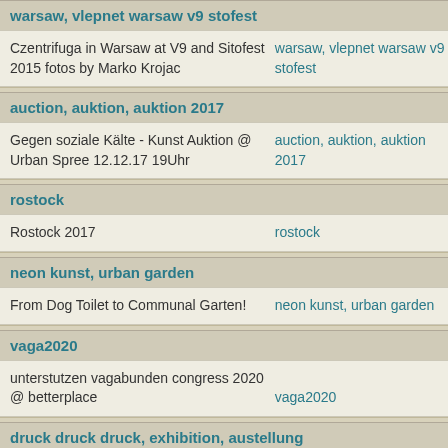warsaw, vlepnet warsaw v9 stofest
| Description | Tags |
| --- | --- |
| Czentrifuga in Warsaw at V9 and Sitofest 2015 fotos by Marko Krojac | warsaw, vlepnet warsaw v9 stofest |
auction, auktion, auktion 2017
| Description | Tags |
| --- | --- |
| Gegen soziale Kälte - Kunst Auktion @ Urban Spree 12.12.17 19Uhr | auction, auktion, auktion 2017 |
rostock
| Description | Tags |
| --- | --- |
| Rostock 2017 | rostock |
neon kunst, urban garden
| Description | Tags |
| --- | --- |
| From Dog Toilet to Communal Garten! | neon kunst, urban garden |
vaga2020
| Description | Tags |
| --- | --- |
| unterstutzen vagabunden congress 2020 @ betterplace | vaga2020 |
druck druck druck, exhibition, austellung
| Description | Tags |
| --- | --- |
| Czentrifuga @ Druck Druck Druck Exhibition 13.04 -14.8 2019 | druck druck druck, exhibition, austellung |